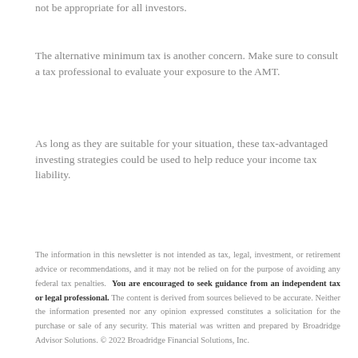not be appropriate for all investors.
The alternative minimum tax is another concern. Make sure to consult a tax professional to evaluate your exposure to the AMT.
As long as they are suitable for your situation, these tax-advantaged investing strategies could be used to help reduce your income tax liability.
The information in this newsletter is not intended as tax, legal, investment, or retirement advice or recommendations, and it may not be relied on for the purpose of avoiding any federal tax penalties. You are encouraged to seek guidance from an independent tax or legal professional. The content is derived from sources believed to be accurate. Neither the information presented nor any opinion expressed constitutes a solicitation for the purchase or sale of any security. This material was written and prepared by Broadridge Advisor Solutions. © 2022 Broadridge Financial Solutions, Inc.